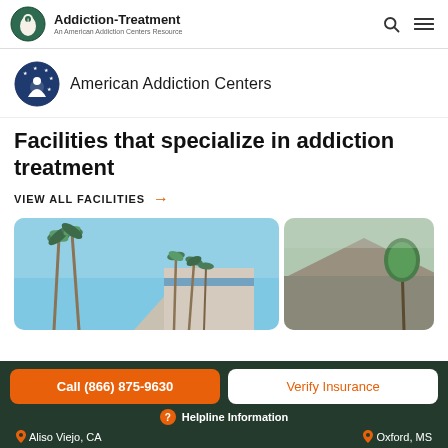Addiction-Treatment — An American Addiction Centers Resource
[Figure (logo): American Addiction Centers logo with circular emblem and text 'American Addiction Centers']
Facilities that specialize in addiction treatment
VIEW ALL FACILITIES →
[Figure (photo): Photo of building with palm trees under blue sky, labeled Aliso Viejo, CA]
[Figure (photo): Photo of building with trees, labeled Oxford, MS]
Call (866) 875-9630
Verify Insurance
? Helpline Information
Aliso Viejo, CA
Oxford, MS